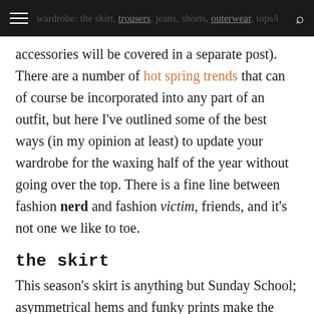wardrobe: the skirt, trousers, jeans, shorts, outerwear, tops/blouses and the dress (shoes and accessories will be covered in a separate post).
accessories will be covered in a separate post). There are a number of hot spring trends that can of course be incorporated into any part of an outfit, but here I've outlined some of the best ways (in my opinion at least) to update your wardrobe for the waxing half of the year without going over the top. There is a fine line between fashion nerd and fashion victim, friends, and it's not one we like to toe.
the skirt
This season's skirt is anything but Sunday School; asymmetrical hems and funky prints make the latest designs sweet with more than a little sass. Pleats, polka dots, florals and watermark designs are the